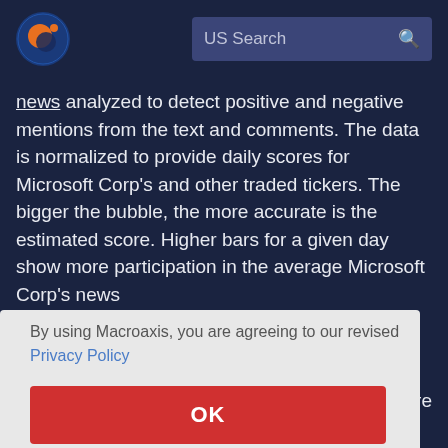[Figure (logo): Macroaxis logo - circular icon with orange and blue planet/globe design]
US Search
news analyzed to detect positive and negative mentions from the text and comments. The data is normalized to provide daily scores for Microsoft Corp's and other traded tickers. The bigger the bubble, the more accurate is the estimated score. Higher bars for a given day show more participation in the average Microsoft Corp's news
re
By using Macroaxis, you are agreeing to our revised Privacy Policy
OK